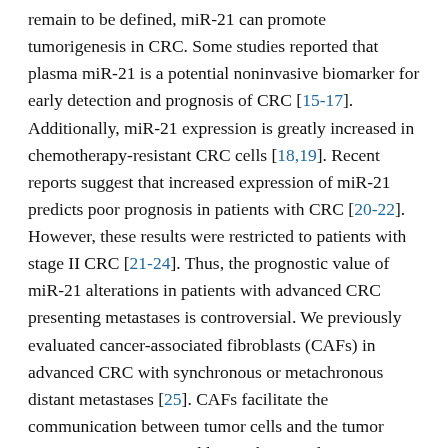remain to be defined, miR-21 can promote tumorigenesis in CRC. Some studies reported that plasma miR-21 is a potential noninvasive biomarker for early detection and prognosis of CRC [15-17]. Additionally, miR-21 expression is greatly increased in chemotherapy-resistant CRC cells [18,19]. Recent reports suggest that increased expression of miR-21 predicts poor prognosis in patients with CRC [20-22]. However, these results were restricted to patients with stage II CRC [21-24]. Thus, the prognostic value of miR-21 alterations in patients with advanced CRC presenting metastases is controversial. We previously evaluated cancer-associated fibroblasts (CAFs) in advanced CRC with synchronous or metachronous distant metastases [25]. CAFs facilitate the communication between tumor cells and the tumor microenvironment. In addition, they regulate tumor invasion and metastasis [26,27]. Interestingly, most studies reported that miR-21 was predominantly observed in CAFs, not in cancer cells [21,22,24]. These findings point to a dynamic malignant role